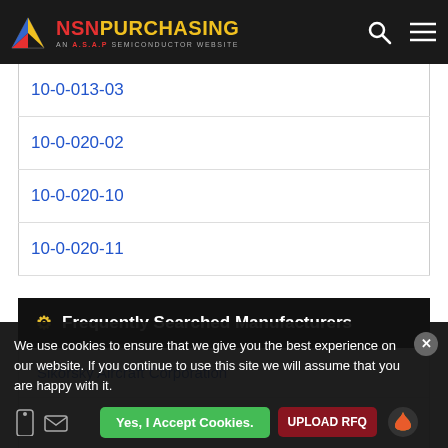NSN PURCHASING — AN A.S.A.P SEMICONDUCTOR WEBSITE
10-0-013-03
10-0-020-02
10-0-020-10
10-0-020-11
Frequently Searched Manufacturers
Sikorsky Aircraft Corporation
We use cookies to ensure that we give you the best experience on our website. If you continue to use this site we will assume that you are happy with it.
Yes, I Accept Cookies.